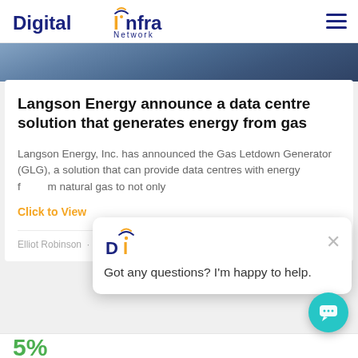Digital Infra Network
[Figure (photo): Dark blue hero image strip at top of article page]
Langson Energy announce a data centre solution that generates energy from gas
Langson Energy, Inc. has announced the Gas Letdown Generator (GLG), a solution that can provide data centres with energy from natural gas to not only
Click to View
Elliot Robinson · August 19, 2021
[Figure (screenshot): Chat popup widget with DI logo, close button, and message: Got any questions? I'm happy to help.]
[Figure (other): Teal circular chat button in bottom right corner]